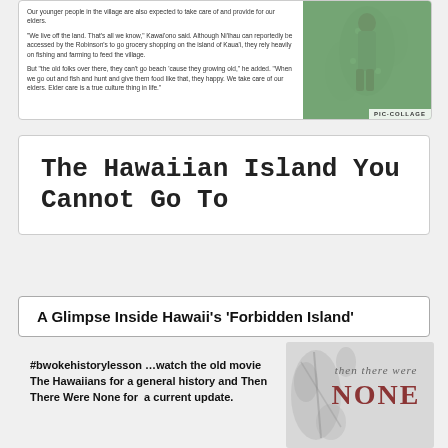[Figure (photo): Clipped top portion of an article card showing small text paragraphs on the left and a photo of a person in a patterned dress on the right with a PIC COLLAGE watermark]
The Hawaiian Island You Cannot Go To
A Glimpse Inside Hawaii’s ‘Forbidden Island’
#bwokehistorylesson …watch the old movie The Hawaiians for a general history and Then There Were None for  a current update.
[Figure (photo): Book cover for 'then there were NONE' showing muted floral/branch background with large maroon NONE text]